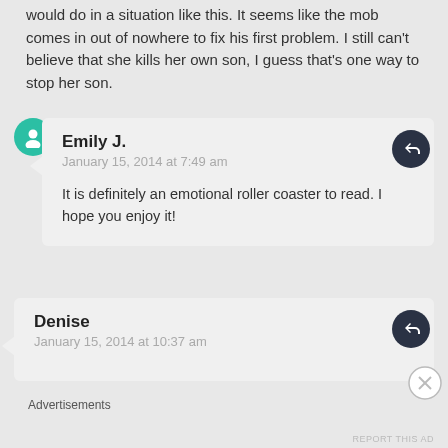would do in a situation like this. It seems like the mob comes in out of nowhere to fix his first problem. I still can't believe that she kills her own son, I guess that's one way to stop her son.
Emily J.
January 15, 2014 at 7:49 am
It is definitely an emotional roller coaster to read. I hope you enjoy it!
Denise
January 15, 2014 at 10:37 am
Advertisements